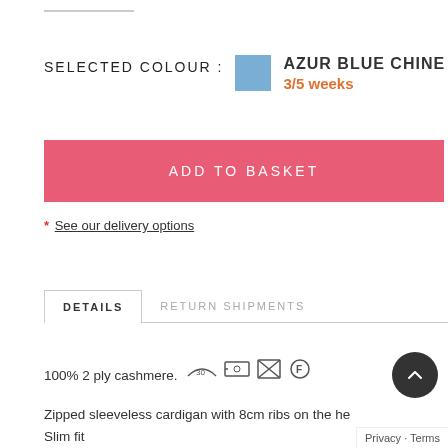SELECTED COLOUR : AZUR BLUE CHINE 3/5 weeks
ADD TO BASKET
* See our delivery options
DETAILS | RETURN SHIPMENTS
100% 2 ply cashmere. [care icons]
Zipped sleeveless cardigan with 8cm ribs on the hem. Slim fit